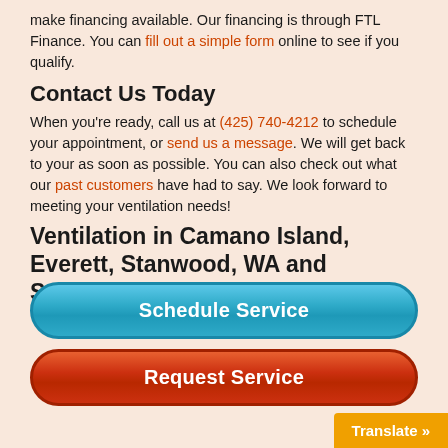make financing available. Our financing is through FTL Finance. You can fill out a simple form online to see if you qualify.
Contact Us Today
When you're ready, call us at (425) 740-4212 to schedule your appointment, or send us a message. We will get back to your as soon as possible. You can also check out what our past customers have had to say. We look forward to meeting your ventilation needs!
Ventilation in Camano Island, Everett, Stanwood, WA and Surrounding Areas
[Figure (other): Blue rounded button labeled 'Schedule Service']
[Figure (other): Red/orange rounded button labeled 'Request Service']
Translate »